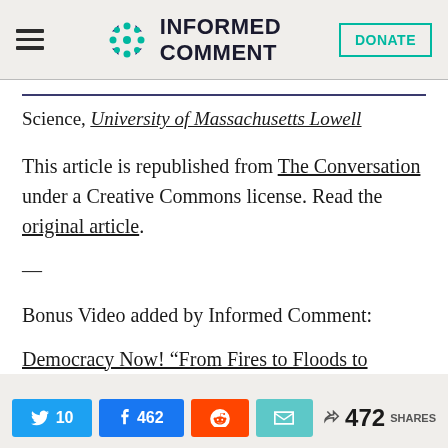INFORMED COMMENT
Science, University of Massachusetts Lowell
This article is republished from The Conversation under a Creative Commons license. Read the original article.
—
Bonus Video added by Informed Comment:
Democracy Now! “From Fires to Floods to
10 462 472 SHARES